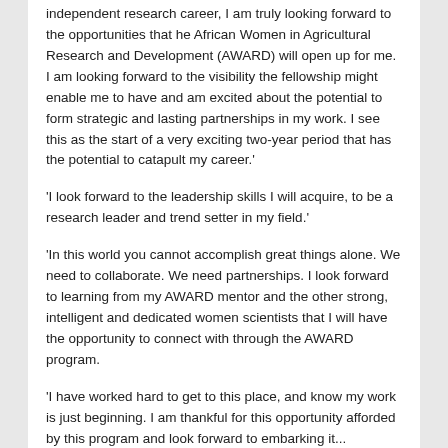independent research career, I am truly looking forward to the opportunities that he African Women in Agricultural Research and Development (AWARD) will open up for me. I am looking forward to the visibility the fellowship might enable me to have and am excited about the potential to form strategic and lasting partnerships in my work. I see this as the start of a very exciting two-year period that has the potential to catapult my career.'
'I look forward to the leadership skills I will acquire, to be a research leader and trend setter in my field.'
'In this world you cannot accomplish great things alone. We need to collaborate. We need partnerships. I look forward to learning from my AWARD mentor and the other strong, intelligent and dedicated women scientists that I will have the opportunity to connect with through the AWARD program.
'I have worked hard to get to this place, and know my work is just beginning. I am thankful for this opportunity afforded by this program and look forward to embarking it...